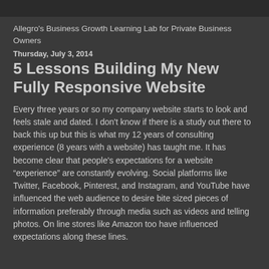Allegro's Business Growth Learning Lab for Private Business Owners
Thursday, July 3, 2014
5 Lessons Building My New Fully Responsive Website
Every three years or so my company website starts to look and feels stale and dated. I don't know if there is a study out there to back this up but this is what my 12 years of consulting experience (8 years with a website) has taught me. It has become clear that people's expectations for a website “experience” are constantly evolving. Social platforms like Twitter, Facebook, Pinterest, and Instagram, and YouTube have influenced the web audience to desire bite sized pieces of information preferably through media such as videos and telling photos. On line stores like Amazon too have influenced expectations along these lines.